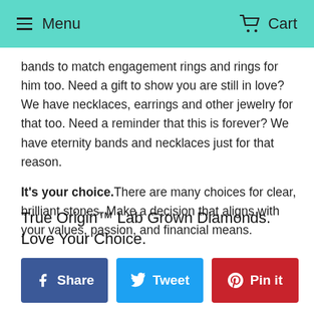Menu  Cart
bands to match engagement rings and rings for him too. Need a gift to show you are still in love? We have necklaces, earrings and other jewelry for that too. Need a reminder that this is forever? We have eternity bands and necklaces just for that reason.

It's your choice. There are many choices for clear, brilliant stones. Make a decision that aligns with your values, passion, and financial means.
True Origin™ Lab Grown Diamonds. Love Your Choice.
Share  Tweet  Pin it